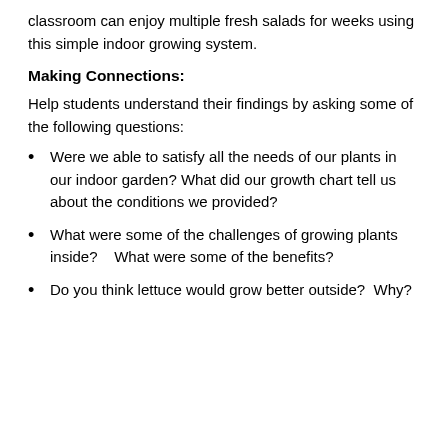classroom can enjoy multiple fresh salads for weeks using this simple indoor growing system.
Making Connections:
Help students understand their findings by asking some of the following questions:
Were we able to satisfy all the needs of our plants in our indoor garden? What did our growth chart tell us about the conditions we provided?
What were some of the challenges of growing plants inside?   What were some of the benefits?
Do you think lettuce would grow better outside?  Why?